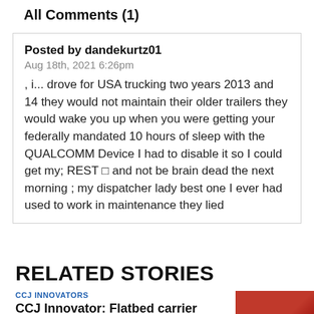All Comments (1)
Posted by dandekurtz01
Aug 18th, 2021 6:26pm
, i... drove for USA trucking two years 2013 and 14 they would not maintain their older trailers they would wake you up when you were getting your federally mandated 10 hours of sleep with the QUALCOMM Device I had to disable it so I could get my; REST □ and not be brain dead the next morning ; my dispatcher lady best one I ever had used to work in maintenance they lied
RELATED STORIES
CCJ INNOVATORS
CCJ Innovator: Flatbed carrier puts